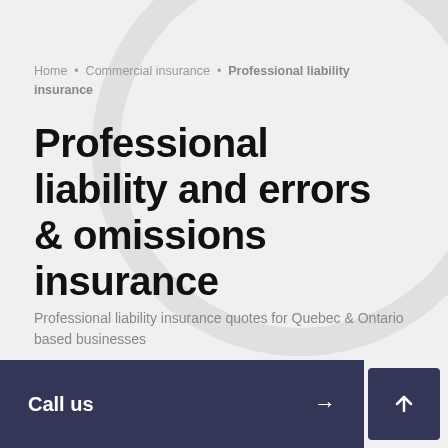Home • Commercial insurance • Professional liability insurance
Professional liability and errors & omissions insurance
Professional liability insurance quotes for Quebec & Ontario based businesses
Call us →